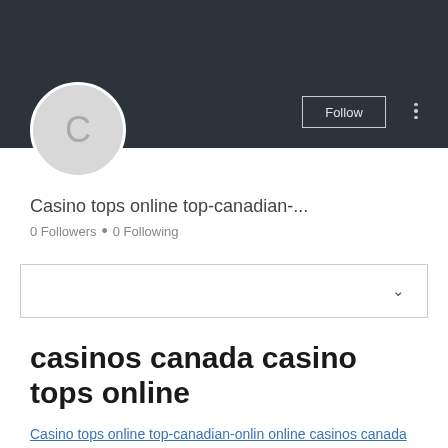[Figure (screenshot): Social media profile page header with dark background banner, circular profile avatar with letter C, Follow button, and three-dot menu]
Casino tops online top-canadian-...
0 Followers • 0 Following
[Figure (other): Dropdown selection box with chevron/arrow icon]
casinos canada casino tops online
Casino tops online top-canadian-onlin online casinos canada casino tops online